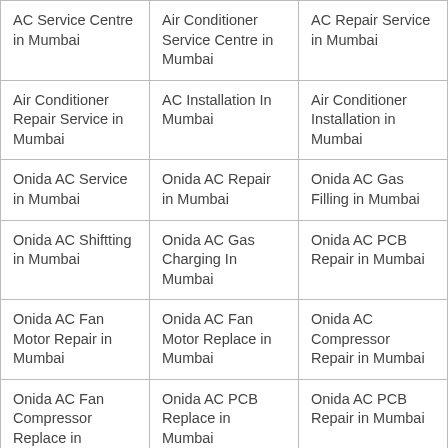| AC Service Centre in Mumbai | Air Conditioner Service Centre in Mumbai | AC Repair Service in Mumbai |
| Air Conditioner Repair Service in Mumbai | AC Installation In Mumbai | Air Conditioner Installation in Mumbai |
| Onida AC Service in Mumbai | Onida AC Repair in Mumbai | Onida AC Gas Filling in Mumbai |
| Onida AC Shiftting in Mumbai | Onida AC Gas Charging In Mumbai | Onida AC PCB Repair in Mumbai |
| Onida AC Fan Motor Repair in Mumbai | Onida AC Fan Motor Replace in Mumbai | Onida AC Compressor Repair in Mumbai |
| Onida AC Fan Compressor Replace in Mumbai | Onida AC PCB Replace in Mumbai | Onida AC PCB Repair in Mumbai |
| Onida Window AC | Onida Window AC | Onida Window AC |